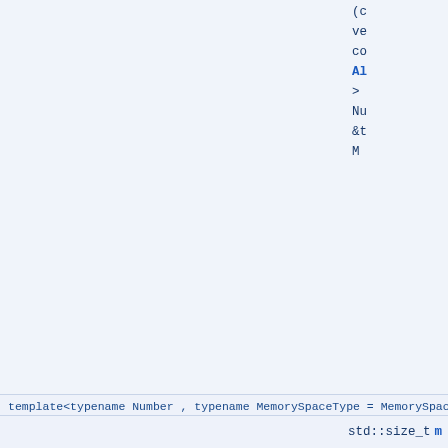(c
ve
co
Al
>
Nu
&t
M
template<typename Number , typename MemorySpaceType = MemorySpace::Host>
void im
(c
ve
co
&t
Nu
&b
Al
>
M
std::size_t m